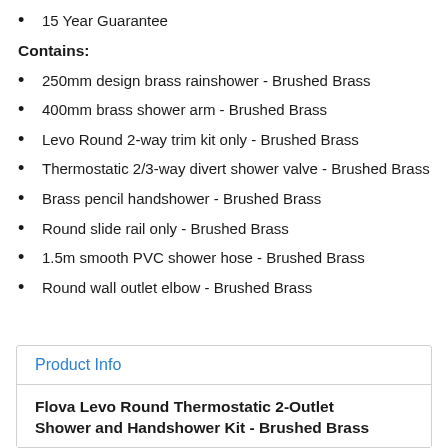15 Year Guarantee
Contains:
250mm design brass rainshower - Brushed Brass
400mm brass shower arm - Brushed Brass
Levo Round 2-way trim kit only - Brushed Brass
Thermostatic 2/3-way divert shower valve - Brushed Brass
Brass pencil handshower - Brushed Brass
Round slide rail only - Brushed Brass
1.5m smooth PVC shower hose - Brushed Brass
Round wall outlet elbow - Brushed Brass
Product Info
Flova Levo Round Thermostatic 2-Outlet Shower and Handshower Kit - Brushed Brass